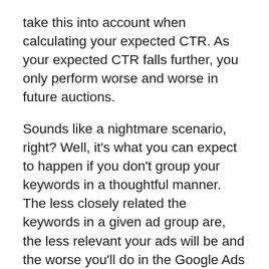take this into account when calculating your expected CTR. As your expected CTR falls further, you only perform worse and worse in future auctions.
Sounds like a nightmare scenario, right? Well, it’s what you can expect to happen if you don’t group your keywords in a thoughtful manner. The less closely related the keywords in a given ad group are, the less relevant your ads will be and the worse you’ll do in the Google Ads auctions.
Alternatively, if you create small, tightly related keyword groups, you ensure that